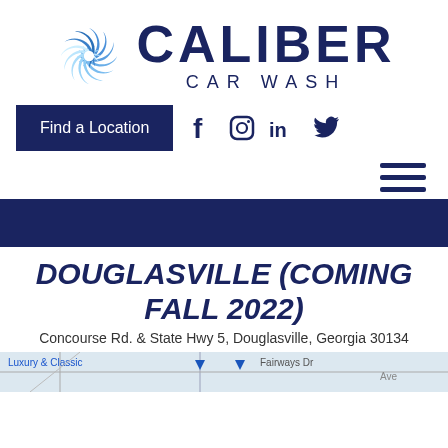[Figure (logo): Caliber Car Wash logo with blue swirl icon and CALIBER CAR WASH text in dark navy]
[Figure (infographic): Navigation bar with Find a Location button and social media icons (Facebook, Instagram, LinkedIn, Twitter)]
[Figure (infographic): Hamburger menu icon (three horizontal lines) in dark navy]
DOUGLASVILLE (COMING FALL 2022)
Concourse Rd. & State Hwy 5, Douglasville, Georgia 30134
[Figure (map): Partial map strip showing road names including Luxury & Classic, Fairways Dr, and navigation markers]